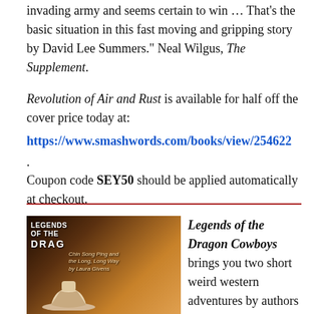invading army and seems certain to win … That's the basic situation in this fast moving and gripping story by David Lee Summers." Neal Wilgus, The Supplement.
Revolution of Air and Rust is available for half off the cover price today at: https://www.smashwords.com/books/view/254622. Coupon code SEY50 should be applied automatically at checkout.
[Figure (illustration): Book cover for Legends of the Dragon Cowboys showing a cowboy figure with a hat, illustrated in brown and black tones with text 'Chin Song Ping and the Long, Long Way by Laura Givens']
Legends of the Dragon Cowboys brings you two short weird western adventures by authors David B. Riley and Laura Givens. Their heroes ride